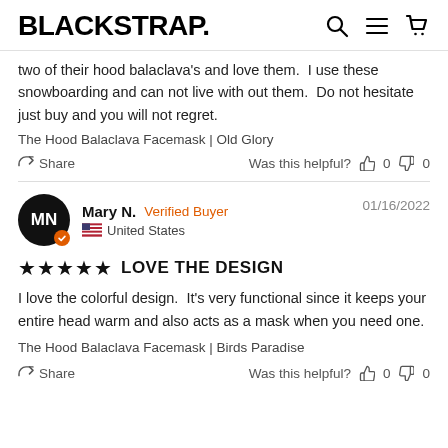BLACKSTRAP.
two of their hood balaclava's and love them.  I use these snowboarding and can not live with out them.  Do not hesitate just buy and you will not regret.
The Hood Balaclava Facemask | Old Glory
Share  Was this helpful?  0  0
Mary N.  Verified Buyer  01/16/2022  United States
★★★★★  LOVE THE DESIGN
I love the colorful design.  It's very functional since it keeps your entire head warm and also acts as a mask when you need one.
The Hood Balaclava Facemask | Birds Paradise
Share  Was this helpful?  0  0